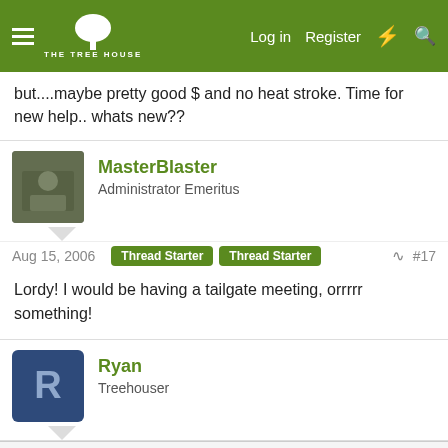THE TREE HOUSE — Log in | Register
but....maybe pretty good $ and no heat stroke. Time for new help.. whats new??
MasterBlaster
Administrator Emeritus
Aug 15, 2006   Thread Starter   Thread Starter   #17
Lordy! I would be having a tailgate meeting, orrrrr something!
Ryan
Treehouser
This site uses cookies to help personalise content, tailor your experience and to keep you logged in if you register.
By continuing to use this site, you are consenting to our use of cookies.